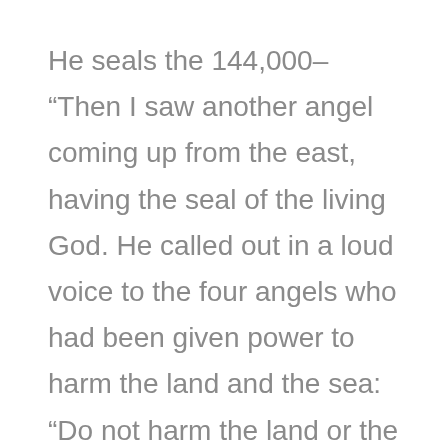He seals the 144,000– “Then I saw another angel coming up from the east, having the seal of the living God. He called out in a loud voice to the four angels who had been given power to harm the land and the sea: “Do not harm the land or the sea or the trees until we put a seal on the foreheads of the servants of our God.” (Revelation 7:2-3)